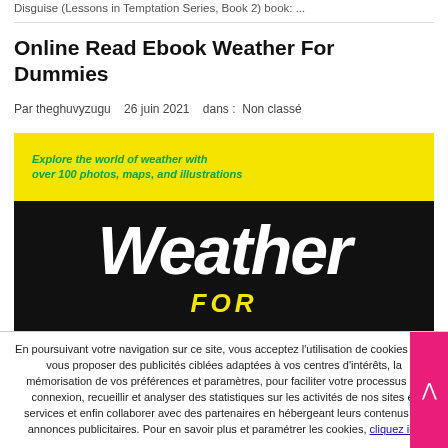Disguise (Lessons in Temptation Series, Book 2) book: ...
Online Read Ebook Weather For Dummies
Par theghuvyzugu   26 juin 2021   dans :  Non classé
[Figure (photo): Cover of 'Weather For Dummies' book showing yellow top band with green italic text 'Explore the world of weather with over 100 photos, maps, and illustrations', black background with large white italic bold 'Weather' text and yellow 'FOR' text below]
En poursuivant votre navigation sur ce site, vous acceptez l'utilisation de cookies pour vous proposer des publicités ciblées adaptées à vos centres d'intérêts, la mémorisation de vos préférences et paramètres, pour faciliter votre processus de connexion, recueillir et analyser des statistiques sur les activités de nos sites et services et enfin collaborer avec des partenaires en hébergeant leurs contenus ou annonces publicitaires. Pour en savoir plus et paramétrer les cookies, cliquez ici.